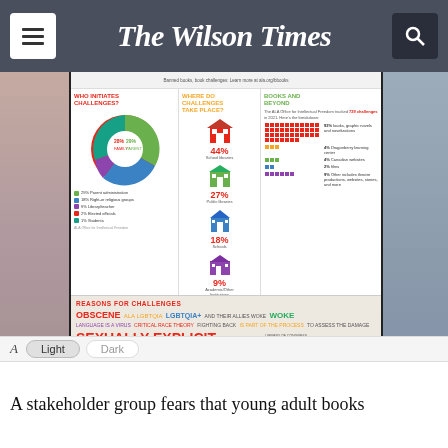The Wilson Times
[Figure (infographic): ALA Book Challenge infographic showing who initiates challenges (pie chart), where challenges take place (icons with percentages: 44% School libraries, 27% Public libraries, 18% Schools, 9% Academic/Other), Books and Beyond bar chart (92% books, 4% databases, 4% Canadian websites, 2% films, 9% other), and Reasons for Challenges word cloud (OBSCENE, LGBTQ+, WOKE, SEXUALLY EXPLICIT, CRITICAL RACE THEORY, PROFANITY, etc.)]
[Figure (screenshot): Video thumbnail showing a government building with columns (EPA building) and a play button overlay, with black panel showing headline 'U.S. EPA to tackle utility emissions with new rules' and close button]
U.S. EPA to tackle utility emissions with new rules
A stakeholder group fears that young adult books